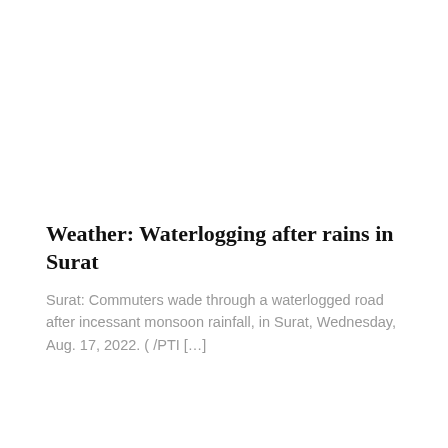Weather: Waterlogging after rains in Surat
Surat: Commuters wade through a waterlogged road after incessant monsoon rainfall, in Surat, Wednesday, Aug. 17, 2022. ( /PTI […]